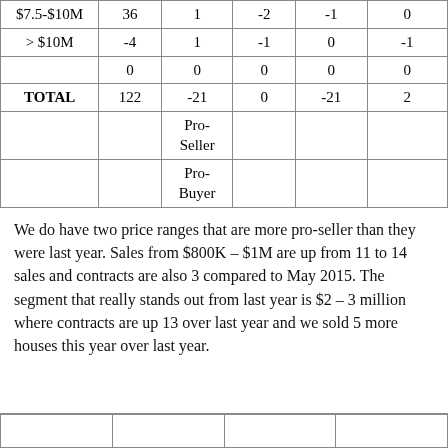| $7.5-$10M | 36 | 1 | -2 | -1 | 0 |
| > $10M | -4 | 1 | -1 | 0 | -1 |
|  | 0 | 0 | 0 | 0 | 0 |
| TOTAL | 122 | -21 | 0 | -21 | 2 |
|  |  | Pro-
Seller |  |  |  |
|  |  | Pro-
Buyer |  |  |  |
We do have two price ranges that are more pro-seller than they were last year. Sales from $800K – $1M are up from 11 to 14 sales and contracts are also 3 compared to May 2015. The segment that really stands out from last year is $2 – 3 million where contracts are up 13 over last year and we sold 5 more houses this year over last year.
|  |  |  |  |